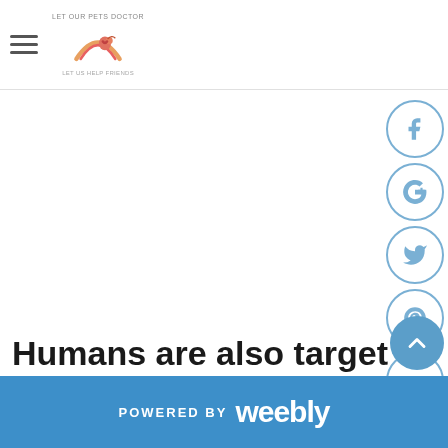Let Our Pets Doctor | rainbow logo
[Figure (infographic): Social media icons on right side: Facebook, Google+, Twitter, Pinterest, YouTube — each in a light blue circle border]
Humans are also targets of flea...
[Figure (infographic): Scroll-up arrow button circle in blue]
POWERED BY weebly